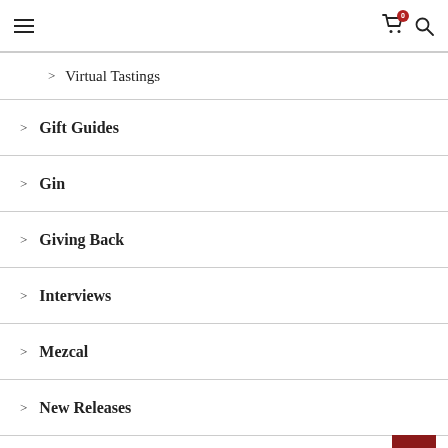Navigation menu header with hamburger icon, cart icon (badge: 0), and search icon
> Virtual Tastings
> Gift Guides
> Gin
> Giving Back
> Interviews
> Mezcal
> New Releases
> Non-Alcoholic